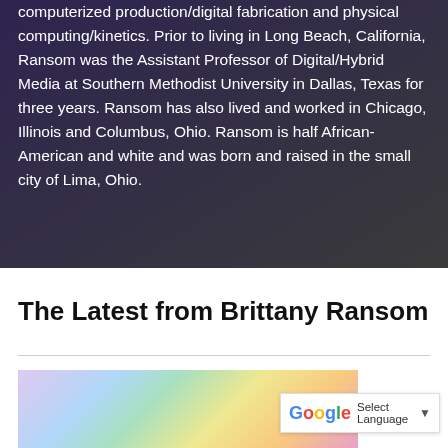computerized production/digital fabrication and physical computing/kinetics. Prior to living in Long Beach, California, Ransom was the Assistant Professor of Digital/Hybrid Media at Southern Methodist University in Dallas, Texas for three years. Ransom has also lived and worked in Chicago, Illinois and Columbus, Ohio. Ransom is half African-American and white and was born and raised in the small city of Lima, Ohio.
The Latest from Brittany Ransom
[Figure (photo): Colorful abstract or artistic image, partially visible at bottom of page, with rainbow-like colors including purple, blue, green, yellow, and orange.]